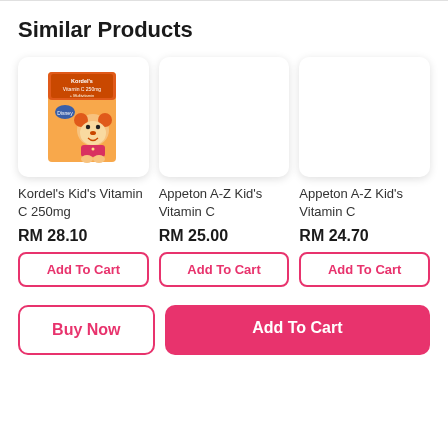Similar Products
[Figure (photo): Product image of Kordel's Kid's Vitamin C 250mg box with Mickey Mouse character]
Kordel's Kid's Vitamin C 250mg
RM 28.10
Add To Cart
Appeton A-Z Kid's Vitamin C
RM 25.00
Add To Cart
Appeton A-Z Kid's Vitamin C
RM 24.70
Add To Cart
Buy Now
Add To Cart